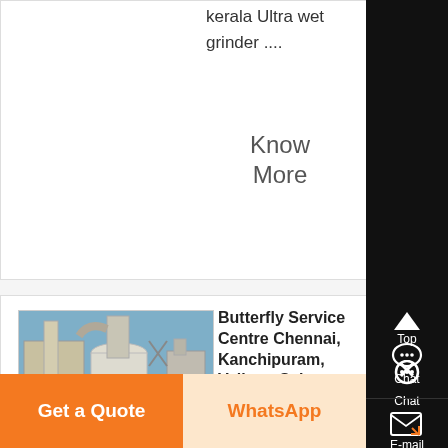kerala Ultra wet grinder ....
Know More
Butterfly Service Centre Chennai, Kanchipuram, Vellore, Salem
[Figure (photo): Industrial machinery / wet grinder equipment in a factory setting]
Find Butterfly service centers in Chennai, Mumb...
Get a Quote
WhatsApp